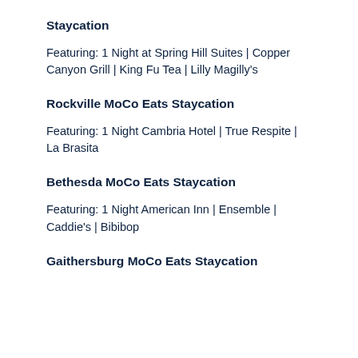Staycation
Featuring: 1 Night at Spring Hill Suites | Copper Canyon Grill | King Fu Tea | Lilly Magilly's
Rockville MoCo Eats Staycation
Featuring: 1 Night Cambria Hotel | True Respite | La Brasita
Bethesda MoCo Eats Staycation
Featuring: 1 Night American Inn | Ensemble | Caddie's | Bibibop
Gaithersburg MoCo Eats Staycation